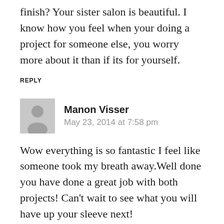finish? Your sister salon is beautiful. I know how you feel when your doing a project for someone else, you worry more about it than if its for yourself.
REPLY
Manon Visser
May 23, 2014 at 7:58 pm
Wow everything is so fantastic I feel like someone took my breath away.Well done you have done a great job with both projects! Can't wait to see what you will have up your sleeve next!
REPLY